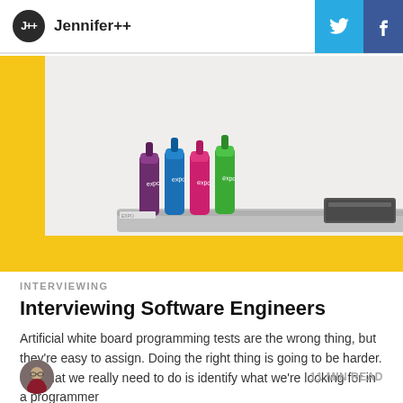Jennifer++
[Figure (photo): Whiteboard with colorful dry-erase markers (purple, blue, pink, green) in a tray, with an eraser, yellow frame border visible]
INTERVIEWING
Interviewing Software Engineers
Artificial white board programming tests are the wrong thing, but they're easy to assign. Doing the right thing is going to be harder. So what we really need to do is identify what we're looking for in a programmer
11 MIN READ